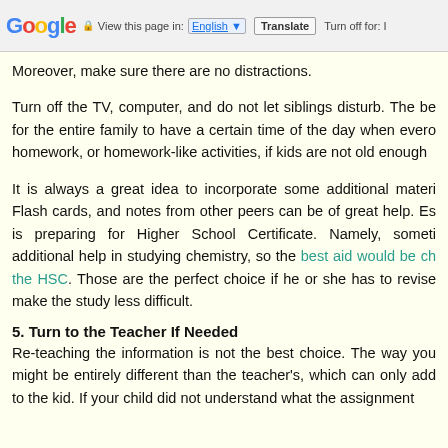Google — View this page in: English ▼ Translate Turn off for: I
Moreover, make sure there are no distractions.
Turn off the TV, computer, and do not let siblings disturb. The be for the entire family to have a certain time of the day when evero homework, or homework-like activities, if kids are not old enough
It is always a great idea to incorporate some additional materi Flash cards, and notes from other peers can be of great help. Es is preparing for Higher School Certificate. Namely, someti additional help in studying chemistry, so the best aid would be ch the HSC. Those are the perfect choice if he or she has to revise make the study less difficult.
5. Turn to the Teacher If Needed
Re-teaching the information is not the best choice. The way you might be entirely different than the teacher's, which can only add to the kid. If your child did not understand what the assignment